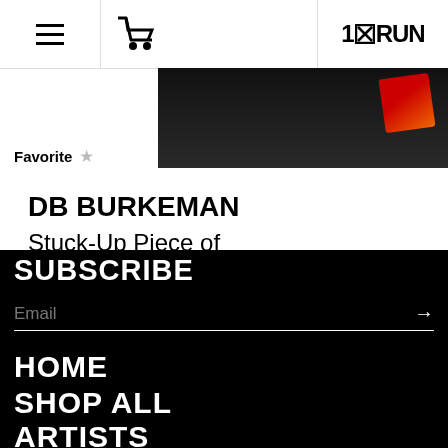1xRUN — navigation header with hamburger menu, cart icon, and logo
[Figure (photo): Product image on dark background with red/yellow sticker accent in corner]
Favorite ☆
DB BURKEMAN
Stuck-Up Piece of Crap: From Punk to
SUBSCRIBE
Email →
HOME
SHOP ALL
ARTISTS